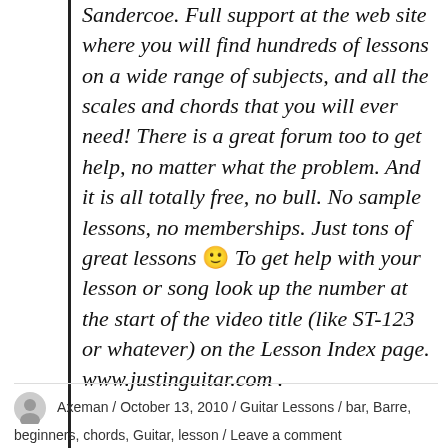Sandercoe. Full support at the web site where you will find hundreds of lessons on a wide range of subjects, and all the scales and chords that you will ever need! There is a great forum too to get help, no matter what the problem. And it is all totally free, no bull. No sample lessons, no memberships. Just tons of great lessons 🙂 To get help with your lesson or song look up the number at the start of the video title (like ST-123 or whatever) on the Lesson Index page. www.justinguitar.com .
Axeman / October 13, 2010 / Guitar Lessons / bar, Barre, beginners, chords, Guitar, lesson / Leave a comment